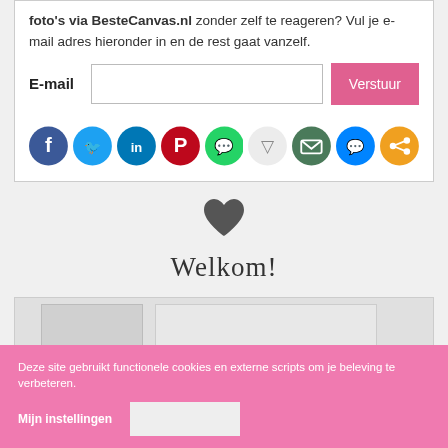foto's via BesteCanvas.nl zonder zelf te reageren? Vul je e-mail adres hieronder in en de rest gaat vanzelf.
[Figure (infographic): Email subscription form with E-mail label, input field, and Verstuur (send) button]
[Figure (infographic): Row of social media share icons: Facebook, Twitter, LinkedIn, Pinterest, WhatsApp, Pocket, Email, Messenger, Share]
[Figure (illustration): Dark grey heart icon]
Welkom!
[Figure (screenshot): Partial website content preview showing cards/images]
Deze site gebruikt functionele cookies en externe scripts om je beleving te verbeteren.
Mijn instellingen